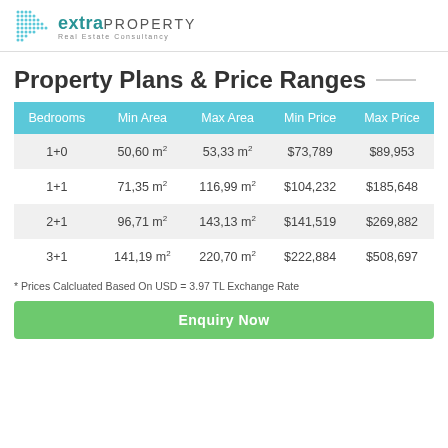[Figure (logo): Extra Property Real Estate Consultancy logo with dot pattern and teal/grey text]
Property Plans & Price Ranges
| Bedrooms | Min Area | Max Area | Min Price | Max Price |
| --- | --- | --- | --- | --- |
| 1+0 | 50,60 m² | 53,33 m² | $73,789 | $89,953 |
| 1+1 | 71,35 m² | 116,99 m² | $104,232 | $185,648 |
| 2+1 | 96,71 m² | 143,13 m² | $141,519 | $269,882 |
| 3+1 | 141,19 m² | 220,70 m² | $222,884 | $508,697 |
* Prices Calcluated Based On USD = 3.97 TL Exchange Rate
Enquiry Now